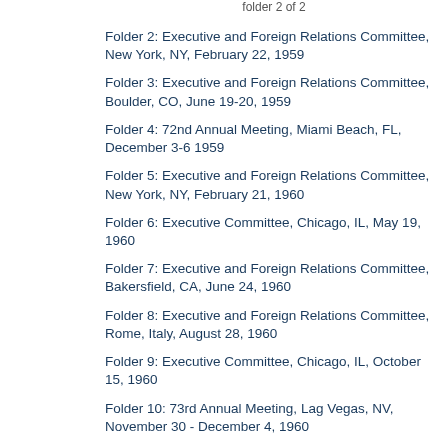folder 2 of 2
Folder 2: Executive and Foreign Relations Committee, New York, NY, February 22, 1959
Folder 3: Executive and Foreign Relations Committee, Boulder, CO, June 19-20, 1959
Folder 4: 72nd Annual Meeting, Miami Beach, FL, December 3-6 1959
Folder 5: Executive and Foreign Relations Committee, New York, NY, February 21, 1960
Folder 6: Executive Committee, Chicago, IL, May 19, 1960
Folder 7: Executive and Foreign Relations Committee, Bakersfield, CA, June 24, 1960
Folder 8: Executive and Foreign Relations Committee, Rome, Italy, August 28, 1960
Folder 9: Executive Committee, Chicago, IL, October 15, 1960
Folder 10: 73rd Annual Meeting, Lag Vegas, NV, November 30 - December 4, 1960
Folder 11: Executive Committee, New York, NY, February 26, 1961
Folder 12: Executive and Foreign Relations Committee, New York, February 26, June 23 1961
Folder 13: Executive Committee, Chicago, IL